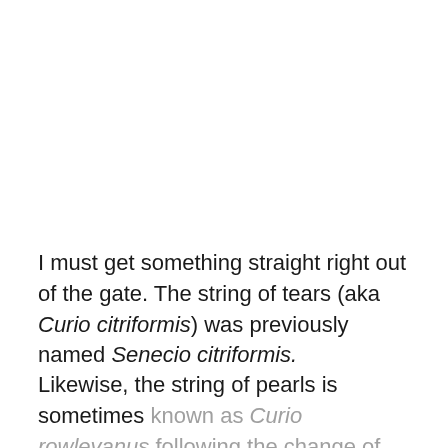I must get something straight right out of the gate. The string of tears (aka Curio citriformis) was previously named Senecio citriformis.
Likewise, the string of pearls is sometimes known as Curio rowleyanus following the change of genus to Curio.